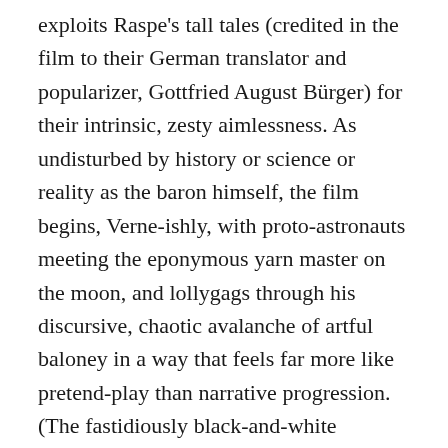exploits Raspe's tall tales (credited in the film to their German translator and popularizer, Gottfried August Bürger) for their intrinsic, zesty aimlessness. As undisturbed by history or science or reality as the baron himself, the film begins, Verne-ishly, with proto-astronauts meeting the eponymous yarn master on the moon, and lollygags through his discursive, chaotic avalanche of artful baloney in a way that feels far more like pretend-play than narrative progression. (The fastidiously black-and-white Invention for Destruction, in contrast, is structured by Verne's clockwork plotting and represents the other extreme—though both films are unmistakably the product of one mind.) The Fabulous Baron